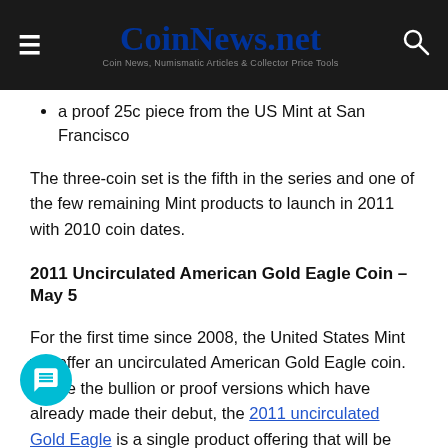CoinNews.net — Coin News, Numismatic Articles & Collector Price Tools
a proof 25c piece from the US Mint at San Francisco
The three-coin set is the fifth in the series and one of the few remaining Mint products to launch in 2011 with 2010 coin dates.
2011 Uncirculated American Gold Eagle Coin – May 5
For the first time since 2008, the United States Mint will offer an uncirculated American Gold Eagle coin. Unlike the bullion or proof versions which have already made their debut, the 2011 uncirculated Gold Eagle is a single product offering that will be available only in the one ounce size — no fractional sizes are produced. Like the proof, it features a "W" mintmark denoting its production at the West Point Mint. The gold coin is unique with its uncirculated finish.